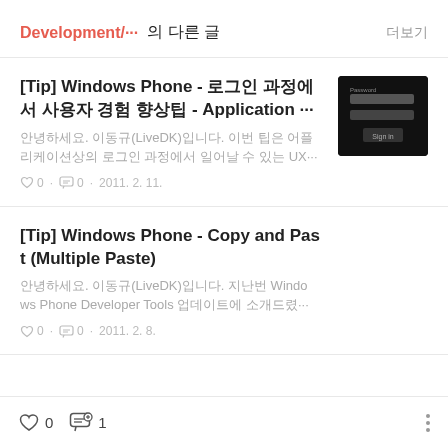Development/… 의 다른 글   더보기
[Tip] Windows Phone - 로그인 과정에서 사용자 경험 향상팁 - Application ···
안녕하세요. 이동규(LiveDK)입니다. 이번 팁은 어플리케이션상의 로그인 과정에서 일어날 수 있는 UX···
♡ 0 · 댓글 0 · 2011. 2. 11.
[Figure (screenshot): Dark background login form screenshot with password field and Sign In button]
[Tip] Windows Phone - Copy and Past t (Multiple Paste)
안녕하세요. 이동규(LiveDK)입니다. 지난번 Windows Phone Developer Tools 업데이트에 소개드렸···
♡ 0 · 댓글 0 · 2011. 2. 8.
♡ 0   댓글 1